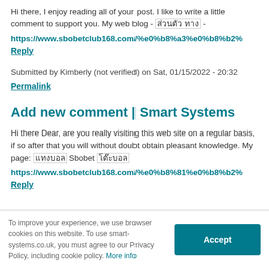Hi there, I enjoy reading all of your post. I like to write a little comment to support you. My web blog - [garbled text] - https://www.sbobetclub168.com/%e0%b8%a3%e0%b8%b2%...
Reply
Submitted by Kimberly (not verified) on Sat, 01/15/2022 - 20:32
Permalink
Add new comment | Smart Systems
Hi there Dear, are you really visiting this web site on a regular basis, if so after that you will without doubt obtain pleasant knowledge. My page: [garbled] Sbobet [garbled] https://www.sbobetclub168.com/%e0%b8%81%e0%b8%b2%...
Reply
To improve your experience, we use browser cookies on this website. To use smart-systems.co.uk, you must agree to our Privacy Policy, including cookie policy. More info